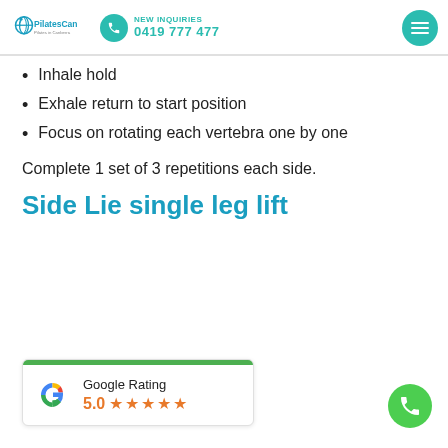PilatesCan Pilates in Canberra | NEW INQUIRIES 0419 777 477
Inhale hold
Exhale return to start position
Focus on rotating each vertebra one by one
Complete 1 set of 3 repetitions each side.
Side Lie single leg lift
[Figure (other): Google Rating widget showing 5.0 stars with five orange star icons and Google 'G' logo]
[Figure (other): Green circular phone FAB button]